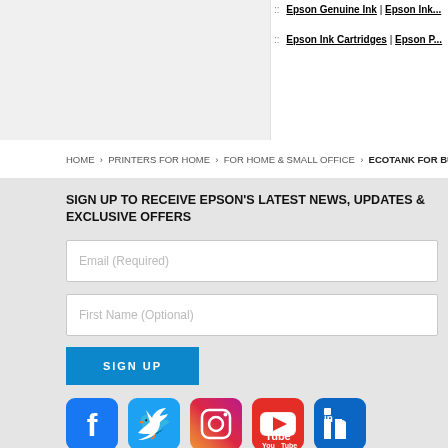Epson Genuine Ink | Epson Ink... | Epson Ink Cartridges | Epson P...
HOME › PRINTERS FOR HOME › FOR HOME & SMALL OFFICE › ECOTANK FOR BUSIN...
SIGN UP TO RECEIVE EPSON'S LATEST NEWS, UPDATES & EXCLUSIVE OFFERS
Email (Required)
First Name (Optional)
SIGN UP
[Figure (infographic): Social media icons: Facebook, Twitter, Instagram, YouTube, LinkedIn]
You are providing your consent to Epson Australia Pty Ltd., so that we may send you emails with regards to interesting news, latest updates and exclusive offers. You may withdraw your consent or view our privacy policy at any time.